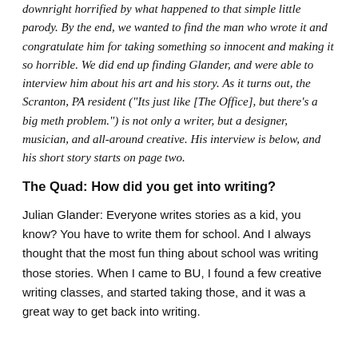downright horrified by what happened to that simple little parody. By the end, we wanted to find the man who wrote it and congratulate him for taking something so innocent and making it so horrible. We did end up finding Glander, and were able to interview him about his art and his story. As it turns out, the Scranton, PA resident ("Its just like [The Office], but there's a big meth problem.") is not only a writer, but a designer, musician, and all-around creative. His interview is below, and his short story starts on page two.
The Quad: How did you get into writing?
Julian Glander: Everyone writes stories as a kid, you know? You have to write them for school. And I always thought that the most fun thing about school was writing those stories. When I came to BU, I found a few creative writing classes, and started taking those, and it was a great way to get back into writing.